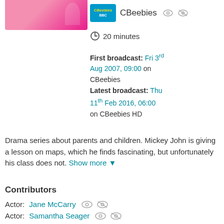[Figure (photo): Partial image of a person with pink background, cropped at top]
CBeebies
20 minutes
First broadcast: Fri 3rd Aug 2007, 09:00 on CBeebies
Latest broadcast: Thu 11th Feb 2016, 06:00 on CBeebies HD
Drama series about parents and children. Mickey John is giving a lesson on maps, which he finds fascinating, but unfortunately his class does not. Show more ▼
Contributors
Actor: Jane McCarry
Actor: Samantha Seager